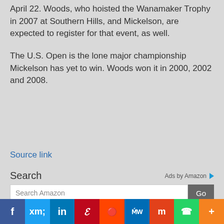April 22. Woods, who hoisted the Wanamaker Trophy in 2007 at Southern Hills, and Mickelson, are expected to register for that event, as well.
The U.S. Open is the lone major championship Mickelson has yet to win. Woods won it in 2000, 2002 and 2008.
Source link
Search
Ads by Amazon
Search Amazon
f | Twitter | in | P | reddit | MW | m | WhatsApp | +